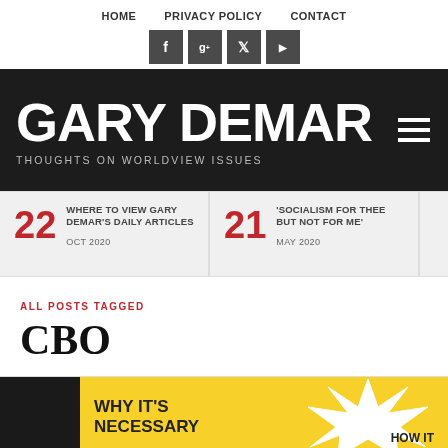HOME | PRIVACY POLICY | CONTACT
[Figure (logo): Social media icon buttons: Facebook, Google+, Twitter, YouTube on dark grey backgrounds]
[Figure (logo): Gary DeMar blog header banner with white bold text 'GARY DEMAR' and subtitle 'THOUGHTS ON WORLDVIEW ISSUES' on dark textured background, with hamburger menu icon on right]
22 WHERE TO VIEW GARY DEMAR'S DAILY ARTICLES OCT 2020
21 'SOCIALISM FOR THEE BUT NOT FOR ME' MAY 2020
ALL POSTS TAGGED
CBO
[Figure (illustration): Partial comic-book style illustration with yellow background showing a person on the left and bold text reading 'WHY IT'S NECESSARY' with a starburst, and partial text 'HOW IT' on the right side]